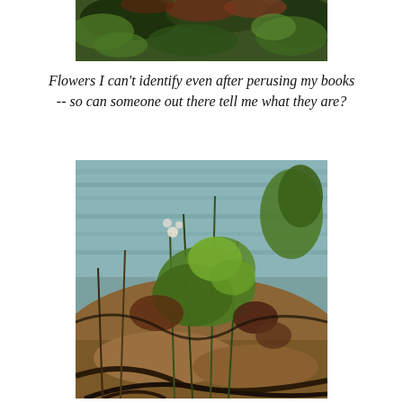[Figure (photo): Close-up photo of tree branches with red-brown and green foliage against a blurred background, cropped at top of page.]
Flowers I can't identify even after perusing my books -- so can someone out there tell me what they are?
[Figure (photo): Photograph of green and brown plants and vegetation growing along a rocky shoreline with calm water in the background.]